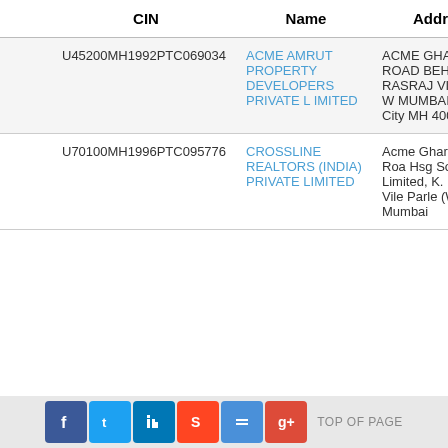|  | CIN | Name | Address |
| --- | --- | --- | --- |
|  | U45200MH1992PTC069034 | ACME AMRUT PROPERTY DEVELOPERS PRIVATE LIMITED | ACME GHAR19 K M ROAD BEH HOTEL RASRAJ VIL PARLE W MUMBAI Mumbai City MH 400056 |
|  | U70100MH1996PTC095776 | CROSSLINE REALTORS (INDIA) PRIVATE LIMITED | Acme Ghar, 19, K.D. Road Hsg Society Limited, K. D. Road, Vile Parle (W) Mumbai |
TOP OF PAGE